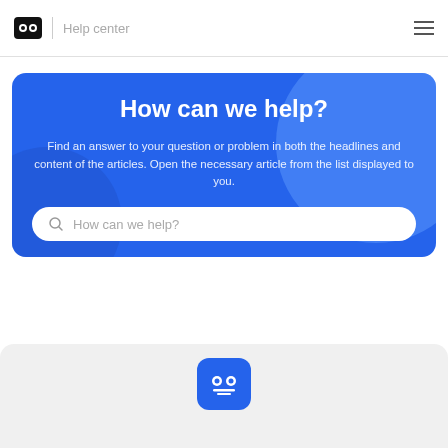eKool | Help center
How can we help?
Find an answer to your question or problem in both the headlines and content of the articles. Open the necessary article from the list displayed to you.
[Figure (screenshot): Search bar with placeholder text 'How can we help?']
[Figure (logo): eKool owl icon in a blue rounded rectangle at bottom of page]